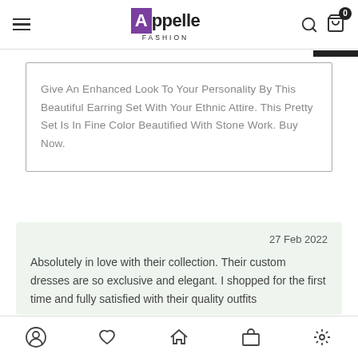Appelle Fashion
Give An Enhanced Look To Your Personality By This Beautiful Earring Set With Your Ethnic Attire. This Pretty Set Is In Fine Color Beautified With Stone Work. Buy Now.
27 Feb 2022

Absolutely in love with their collection. Their custom dresses are so exclusive and elegant. I shopped for the first time and fully satisfied with their quality outfits